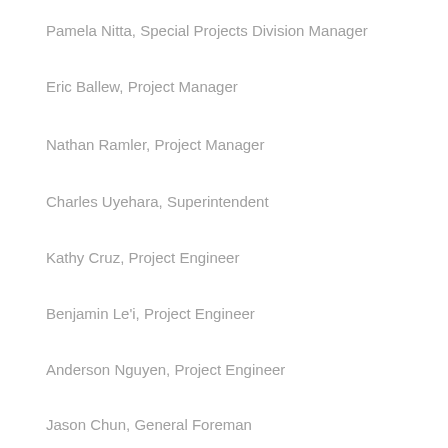Pamela Nitta, Special Projects Division Manager
Eric Ballew, Project Manager
Nathan Ramler, Project Manager
Charles Uyehara, Superintendent
Kathy Cruz, Project Engineer
Benjamin Le'i, Project Engineer
Anderson Nguyen, Project Engineer
Jason Chun, General Foreman
The Wilhelm Group
Lance Wilhelm, President